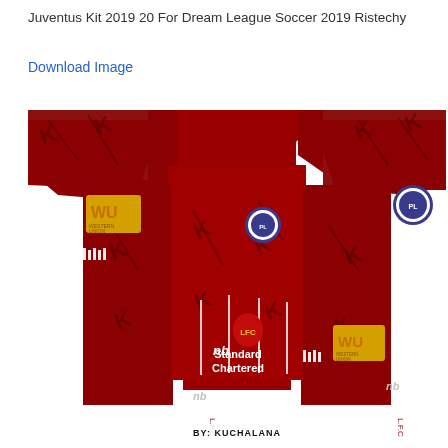Juventus Kit 2019 20 For Dream League Soccer 2019 Ristechy
Download Image
[Figure (illustration): Liverpool FC Dream League Soccer 2019-20 kit texture/sprite sheet showing front and back of red home jersey with Standard Chartered sponsor, New Balance logo, LFC crest, WU Western Union badge, and Premier League patch. White shorts panels visible. Watermark BY: KUCHALANA at bottom.]